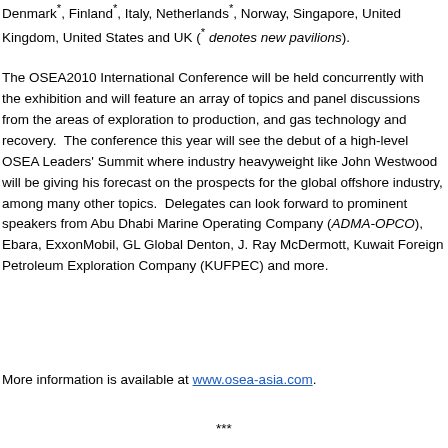Denmark*, Finland*, Italy, Netherlands*, Norway, Singapore, United Kingdom, United States and UK (* denotes new pavilions).
The OSEA2010 International Conference will be held concurrently with the exhibition and will feature an array of topics and panel discussions from the areas of exploration to production, and gas technology and recovery. The conference this year will see the debut of a high-level OSEA Leaders' Summit where industry heavyweight like John Westwood will be giving his forecast on the prospects for the global offshore industry, among many other topics. Delegates can look forward to prominent speakers from Abu Dhabi Marine Operating Company (ADMA-OPCO), Ebara, ExxonMobil, GL Global Denton, J. Ray McDermott, Kuwait Foreign Petroleum Exploration Company (KUFPEC) and more.
More information is available at www.osea-asia.com.
***